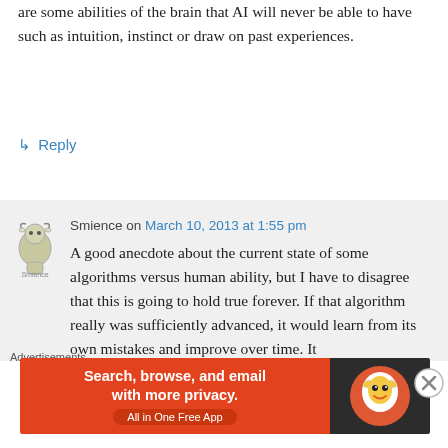are some abilities of the brain that AI will never be able to have such as intuition, instinct or draw on past experiences.
↳ Reply
Smience on March 10, 2013 at 1:55 pm
A good anecdote about the current state of some algorithms versus human ability, but I have to disagree that this is going to hold true forever. If that algorithm really was sufficiently advanced, it would learn from its own mistakes and improve over time. It
Advertisements
[Figure (screenshot): DuckDuckGo advertisement banner: orange left panel reading 'Search, browse, and email with more privacy. All in One Free App' and dark right panel with DuckDuckGo logo]